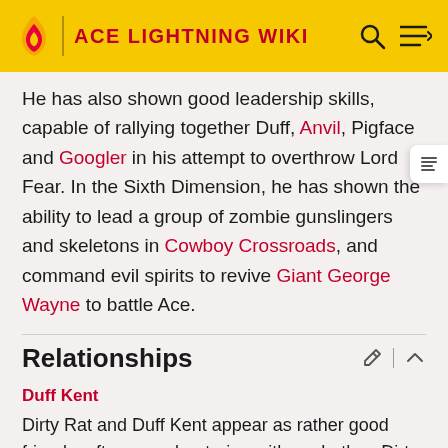ACE LIGHTNING WIKI
He has also shown good leadership skills, capable of rallying together Duff, Anvil, Pigface and Googler in his attempt to overthrow Lord Fear. In the Sixth Dimension, he has shown the ability to lead a group of zombie gunslingers and skeletons in Cowboy Crossroads, and command evil spirits to revive Giant George Wayne to battle Ace.
Relationships
Duff Kent
Dirty Rat and Duff Kent appear as rather good friends, often seen bantering with eachother. Dirty Rat often refers to Duff as "Duffy" and in turn, Duff calls him "Mr.